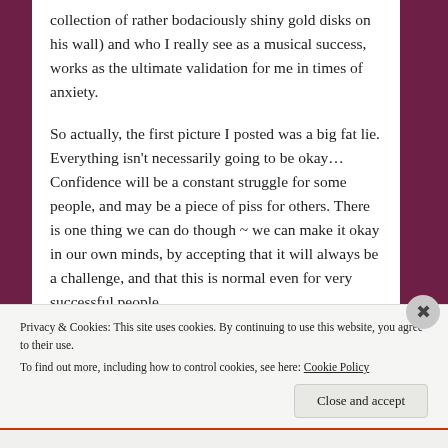collection of rather bodaciously shiny gold disks on his wall) and who I really see as a musical success, works as the ultimate validation for me in times of anxiety.
So actually, the first picture I posted was a big fat lie. Everything isn't necessarily going to be okay… Confidence will be a constant struggle for some people, and may be a piece of piss for others. There is one thing we can do though ~ we can make it okay in our own minds, by accepting that it will always be a challenge, and that this is normal even for very successful people
Privacy & Cookies: This site uses cookies. By continuing to use this website, you agree to their use.
To find out more, including how to control cookies, see here: Cookie Policy